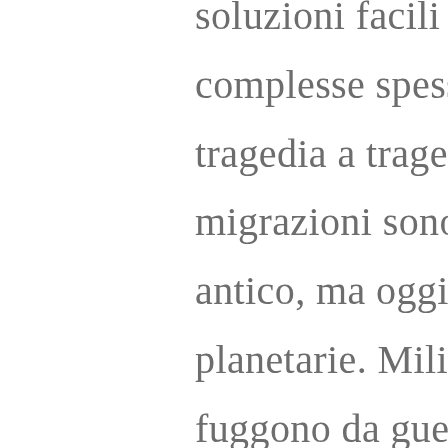soluzioni facili a situazioni complesse spesso aggiungono tragedia a tragedie. Le grandi migrazioni sono un fenomeno antico, ma oggi hanno dimensioni planetarie. Milioni di persone fuggono da guerre e povertà, e solo il 10% di loro cerca approdo in Europa. Una sfida di questa portata può essere affrontata solo con un lavoro condiviso, improntato alla cooperazione e al rispetto, iniziando fuori dai nostri confini. Siamo partiti quasi da zero: fino al 2015 le migrazioni non erano un tema di